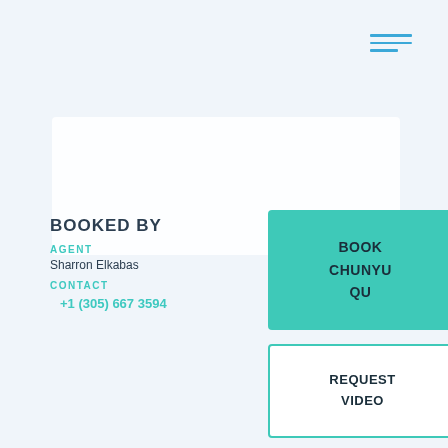[Figure (other): Hamburger menu icon with three horizontal lines in blue, top-right corner]
[Figure (other): White rectangular card area in upper center of page]
BOOKED BY
AGENT
Sharron Elkabas
CONTACT
+1 (305) 667 3594
BOOK CHUNYU QU
REQUEST VIDEO